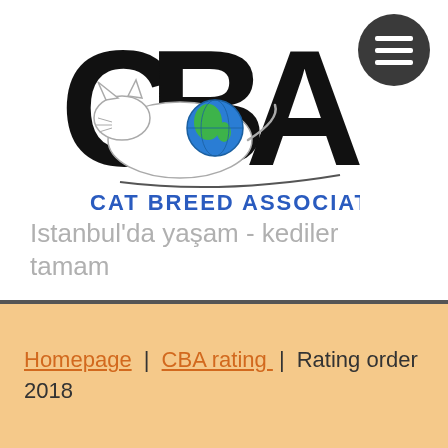[Figure (logo): Cat Breed Association (CBA) logo with large black CBA letters, a white cat illustration, a globe icon, and blue text 'CAT BREED ASSOCIATION' below]
[Figure (other): Dark grey circle with three horizontal white lines (hamburger menu icon) in the top right corner]
Istanbul'da yaşam - kediler tamam
Homepage | CBA rating | Rating order 2018